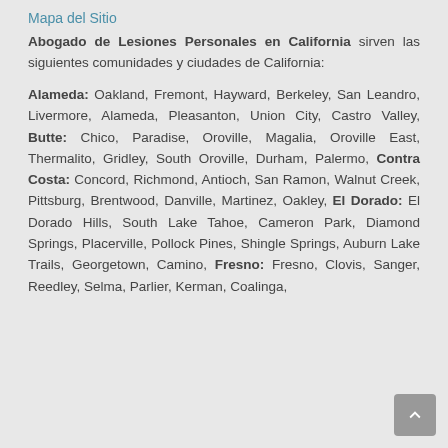Mapa del Sitio
Abogado de Lesiones Personales en California sirven las siguientes comunidades y ciudades de California:
Alameda: Oakland, Fremont, Hayward, Berkeley, San Leandro, Livermore, Alameda, Pleasanton, Union City, Castro Valley, Butte: Chico, Paradise, Oroville, Magalia, Oroville East, Thermalito, Gridley, South Oroville, Durham, Palermo, Contra Costa: Concord, Richmond, Antioch, San Ramon, Walnut Creek, Pittsburg, Brentwood, Danville, Martinez, Oakley, El Dorado: El Dorado Hills, South Lake Tahoe, Cameron Park, Diamond Springs, Placerville, Pollock Pines, Shingle Springs, Auburn Lake Trails, Georgetown, Camino, Fresno: Fresno, Clovis, Sanger, Reedley, Selma, Parlier, Kerman, Coalinga,